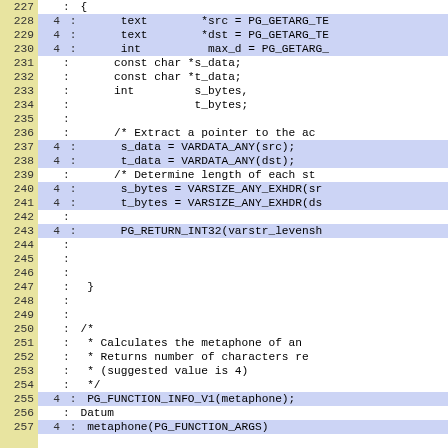[Figure (screenshot): Source code viewer showing C code lines 227-257 with line numbers in yellow-green column on left, hit counts in blue-highlighted rows, and code content on right. Blue highlighted rows indicate executed lines.]